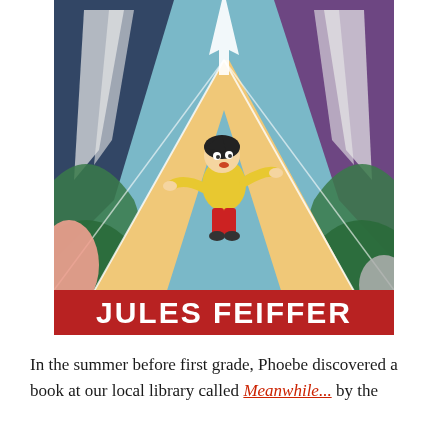[Figure (illustration): Book cover illustration for Jules Feiffer showing a cartoon child in a yellow top and red pants running/skating in a bowling alley-like perspective corridor, surrounded by large shark-fin or wave shapes. A red banner at the bottom reads JULES FEIFFER in large white bold letters.]
In the summer before first grade, Phoebe discovered a book at our local library called Meanwhile... by the